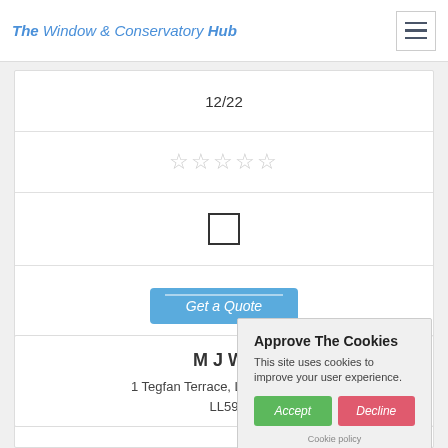The Window & Conservatory Hub
12/22
[Figure (other): Five empty star rating icons]
[Figure (other): Empty checkbox]
Get a Quote
M J Wil...
1 Tegfan Terrace, Llandegfan, M..., LL59...
Approve The Cookies
This site uses cookies to improve your user experience.
Accept
Decline
Cookie policy